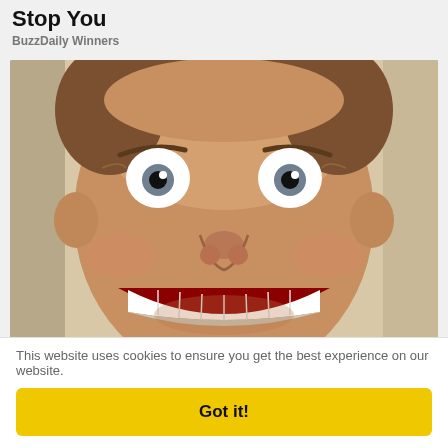Stop You
BuzzDaily Winners
[Figure (photo): A man with wide eyes making an exaggerated grinning face showing teeth, close-up selfie photo]
Anyone with Tooth Decay Should Watch This (They
This website uses cookies to ensure you get the best experience on our website.
Got it!